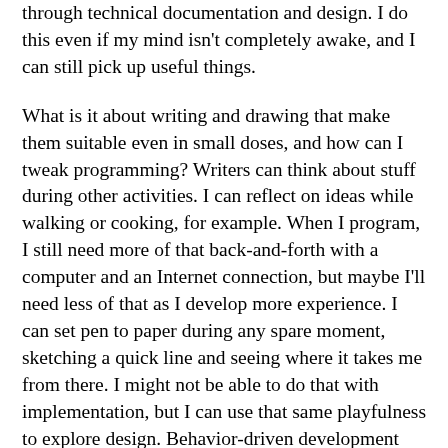through technical documentation and design. I do this even if my mind isn't completely awake, and I can still pick up useful things.
What is it about writing and drawing that make them suitable even in small doses, and how can I tweak programming? Writers can think about stuff during other activities. I can reflect on ideas while walking or cooking, for example. When I program, I still need more of that back-and-forth with a computer and an Internet connection, but maybe I'll need less of that as I develop more experience. I can set pen to paper during any spare moment, sketching a quick line and seeing where it takes me from there. I might not be able to do that with implementation, but I can use that same playfulness to explore design. Behavior-driven development makes it easier to break projects down into tiny, clear steps, and have a way of verifying progress (without too much backsliding!). Getting deeper into frameworks and tools will help me do more with less effort, and let it be...